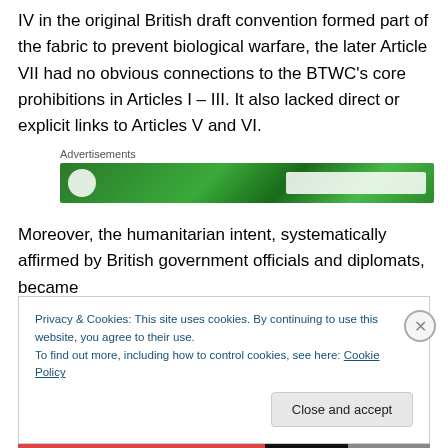IV in the original British draft convention formed part of the fabric to prevent biological warfare, the later Article VII had no obvious connections to the BTWC's core prohibitions in Articles I – III. It also lacked direct or explicit links to Articles V and VI.
[Figure (other): Green advertisement banner with circular logo and white button element]
Moreover, the humanitarian intent, systematically affirmed by British government officials and diplomats, became
Privacy & Cookies: This site uses cookies. By continuing to use this website, you agree to their use.
To find out more, including how to control cookies, see here: Cookie Policy

Close and accept